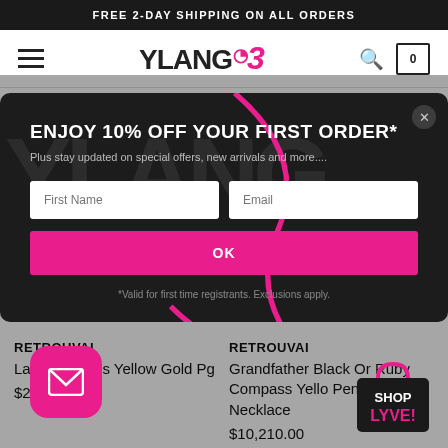FREE 2-DAY SHIPPING ON ALL ORDERS
[Figure (logo): Ylang 23 logo with hamburger menu, search icon, and cart icon showing 0 items]
[Figure (screenshot): Modal popup with dark background showing 10% off offer, first name and email fields, OK button]
ENJOY 10% OFF YOUR FIRST ORDER*
Plus stay updated on special offers, new arrivals and more....
*Valid for first time registrants. Exclusions apply.
RETROUVAI
Large Impetus Yellow Gold P...g
$2...
RETROUVAI
Grandfather Black Or... Ruby Compass Yello... Pendant Necklace
$10,210.00